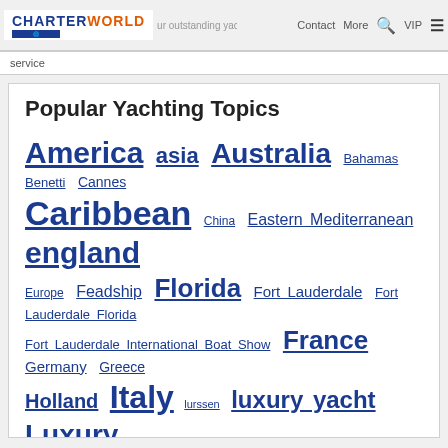CHARTERWORLD | Contact | More | VIP
service
Popular Yachting Topics
America asia Australia Bahamas Benetti Cannes Caribbean China Eastern Mediterranean england Europe Feadship Florida Fort Lauderdale Fort Lauderdale Florida Fort Lauderdale International Boat Show France Germany Greece Holland Italy lurssen luxury yacht Luxury Yachts Mediterranean Monaco Monaco Yacht Show motor yacht Motor Yachts MYS Netherland Netherlands New Zealand Sardinia South of France Spain Sunseeker Superyacht Superyacht